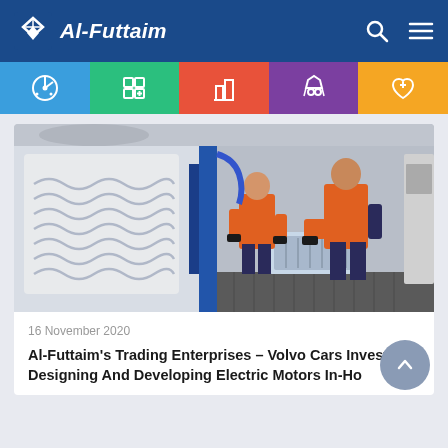Al-Futtaim
[Figure (screenshot): Al-Futtaim website navigation bar with logo, search and menu icons, and a colorful category icon bar below]
[Figure (photo): Two workers in orange high-visibility vests and navy pants handling an electric motor component in an industrial facility]
16 November 2020
Al-Futtaim's Trading Enterprises – Volvo Cars Invests In Designing And Developing Electric Motors In-Ho